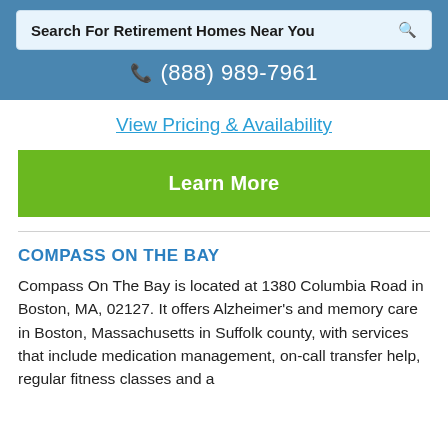Search For Retirement Homes Near You
☎ (888) 989-7961
View Pricing & Availability
Learn More
COMPASS ON THE BAY
Compass On The Bay is located at 1380 Columbia Road in Boston, MA, 02127. It offers Alzheimer's and memory care in Boston, Massachusetts in Suffolk county, with services that include medication management, on-call transfer help, regular fitness classes and a